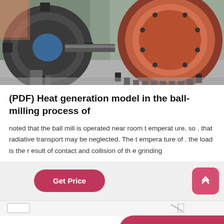[Figure (photo): Industrial ball mill machinery showing large gears, rollers, and mechanical components in a factory/workshop setting]
(PDF) Heat generation model in the ball-milling process of
noted that the ball mill is operated near room t emperat ure, so . that radiative transport may be neglected. The t empera ture of . the load is the r esult of contact and collision of th e grinding
Get Price
Leave Message
Chat Online